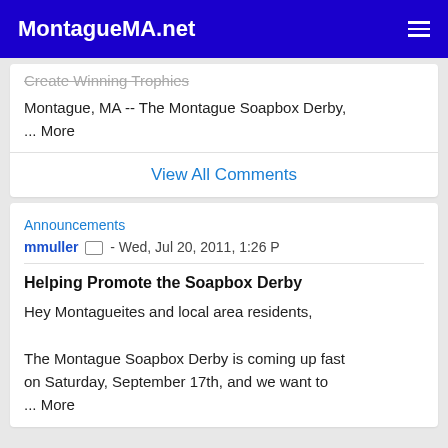MontagueMA.net
Create Winning Trophies
Montague, MA -- The Montague Soapbox Derby, ... More
View All Comments
Announcements
mmuller - Wed, Jul 20, 2011, 1:26 P
Helping Promote the Soapbox Derby
Hey Montagueites and local area residents,
The Montague Soapbox Derby is coming up fast on Saturday, September 17th, and we want to ... More